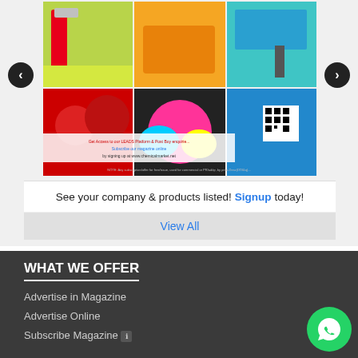[Figure (photo): Paint and coating product collage showing paint rollers, trays, cans, and brushes in various colors. Contains overlay text with subscription/signup information and a QR code.]
See your company & products listed! Signup today!
View All
WHAT WE OFFER
Advertise in Magazine
Advertise Online
Subscribe Magazine 🛈